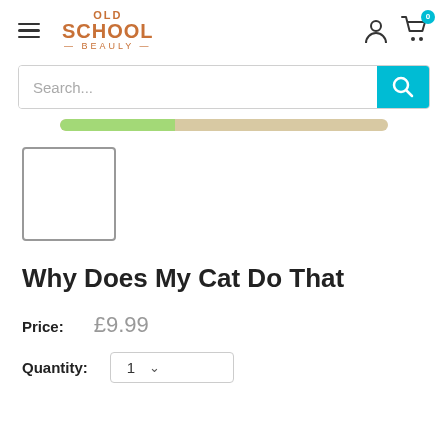[Figure (logo): Old School Beauly logo in orange text with decorative lines]
Search...
[Figure (infographic): Progress bar with green fill on left (~35%) and tan/beige fill on right]
[Figure (photo): Product image placeholder - empty white box with gray border]
Why Does My Cat Do That
Price:   £9.99
Quantity:   1